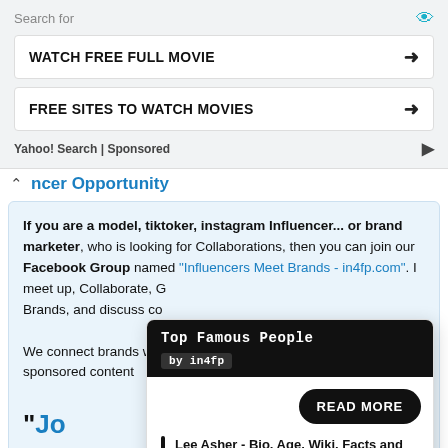Search for
WATCH FREE FULL MOVIE →
FREE SITES TO WATCH MOVIES →
Yahoo! Search | Sponsored
...ncer Opportunity
If you are a model, tiktoker, instagram Influencer... or brand marketer, who is looking for Collaborations, then you can join our Facebook Group named "Influencers Meet Brands - in4fp.com". I... meet up, Collaborate, G... Brands, and discuss co...
[Figure (screenshot): Popup card showing Top Famous People by in4fp with READ MORE button and article link: Lee Asher - Bio, Age, Wiki, Facts and Family - in4fp.com]
We connect brands with... sponsored content
"Jo...